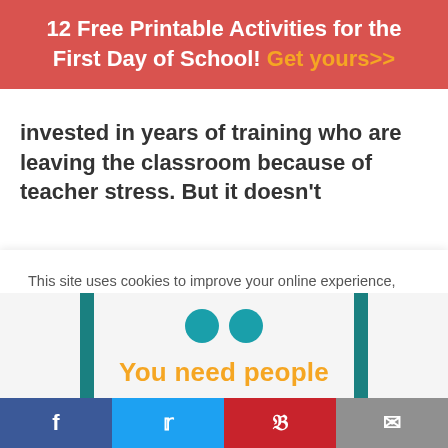12 Free Printable Activities for the First Day of School! Get yours>>
invested in years of training who are leaving the classroom because of teacher stress. But it doesn't
This site uses cookies to improve your online experience, allow you to share content on social media, measure traffic to this website and display customised ads based on your browsing activity.
Learn More
Accept
[Figure (illustration): Decorative image with teal vertical bars, two teal circles, and orange text reading 'You need people']
Facebook Twitter Pinterest Email social share buttons